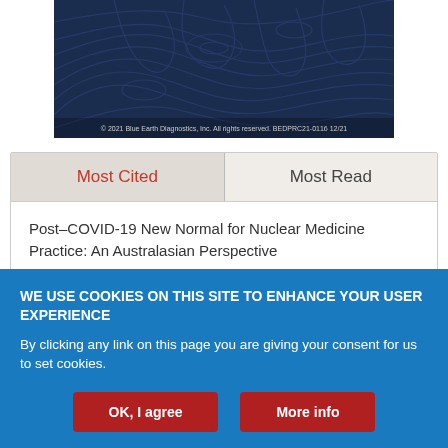[Figure (illustration): Dark navy blue topographic map pattern background with concentric contour lines. Copyright text at bottom: © 2021 Blue Earth Diagnostics, Inc. All rights reserved. BEDPRC21-0116 12/21]
[Figure (screenshot): Tab interface with 'Most Cited' (active, red text) and 'Most Read' tabs on a beige/gray background]
Post–COVID-19 New Normal for Nuclear Medicine Practice: An Australasian Perspective
WE USE COOKIES ON THIS SITE TO ENHANCE YOUR USER EXPERIENCE
By clicking any link on this page you are giving your consent for us to set cookies.
OK, I agree
More info